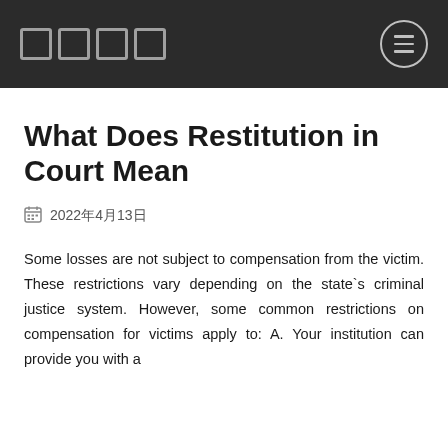□□□□
What Does Restitution in Court Mean
2022年4月13日
Some losses are not subject to compensation from the victim. These restrictions vary depending on the state`s criminal justice system. However, some common restrictions on compensation for victims apply to: A. Your institution can provide you with a